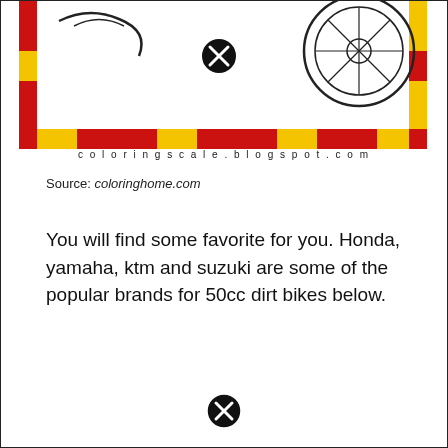[Figure (illustration): Partial coloring book image showing part of a dirt bike or motorcycle coloring page with a red and yellow border design, a close/X button circle in the center, and partial wheel drawing visible. Website watermark reads coloringscale.blogspot.com]
coloringscale.blogspot.com
Source: coloringhome.com
You will find some favorite for you. Honda, yamaha, ktm and suzuki are some of the popular brands for 50cc dirt bikes below.
[Figure (other): Close/X button circle icon at bottom center of page]